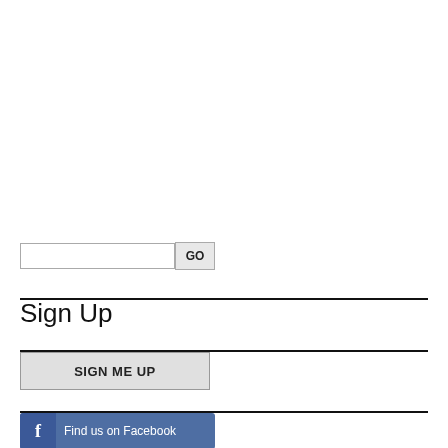[Figure (screenshot): Search input field with GO button]
Sign Up
[Figure (screenshot): SIGN ME UP button]
[Figure (screenshot): Find us on Facebook button with Facebook icon]